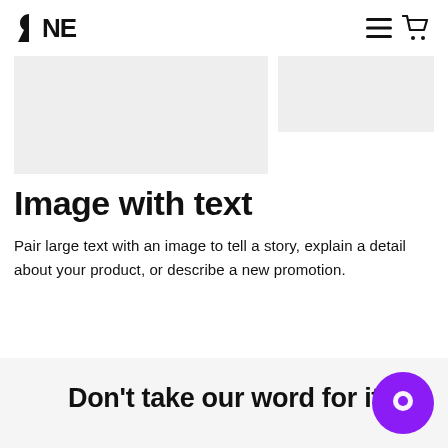ONE
[Figure (screenshot): Two gray placeholder image panels side by side]
Image with text
Pair large text with an image to tell a story, explain a detail about your product, or describe a new promotion.
Don't take our word for it
[Figure (illustration): Purple circular chat bubble widget in bottom right corner]